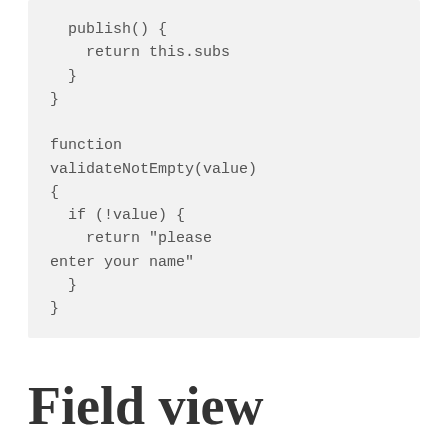Field view components
One of the